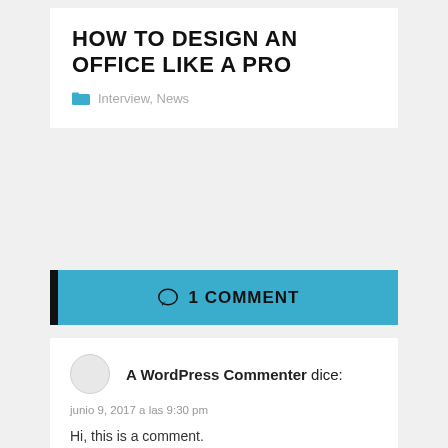HOW TO DESIGN AN OFFICE LIKE A PRO
Interview, News
1 COMMENT
A WordPress Commenter dice:
junio 9, 2017 a las 9:30 pm
Hi, this is a comment.
To get started with moderating, editing, and